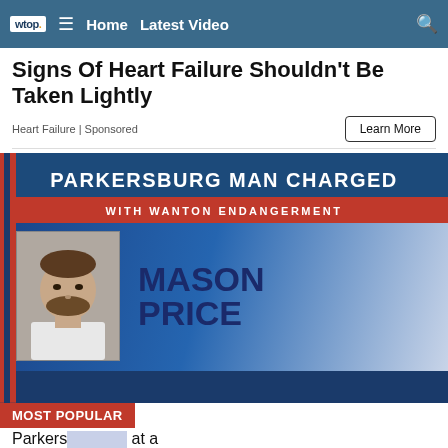wtop | Home | Latest Video
Signs Of Heart Failure Shouldn't Be Taken Lightly
Heart Failure | Sponsored
[Figure (screenshot): News graphic showing PARKERSBURG MAN CHARGED WITH WANTON ENDANGERMENT with mugshot of Mason Price]
MOST POPULAR
SAME DAY JOINT REPLACEMENT AT CAMDEN CLARK | WVU Medicine | CAMDEN CLARK
Parkers... at a